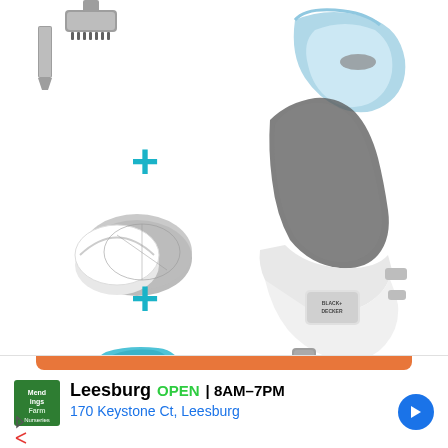[Figure (photo): BLACK+DECKER cordless handheld vacuum cleaner in white and light blue, shown with attachments (crevice tool, brush), replacement filter, and charging base. Components are arranged with plus signs indicating they are included together.]
Leesburg  OPEN  8AM–7PM
170 Keystone Ct, Leesburg